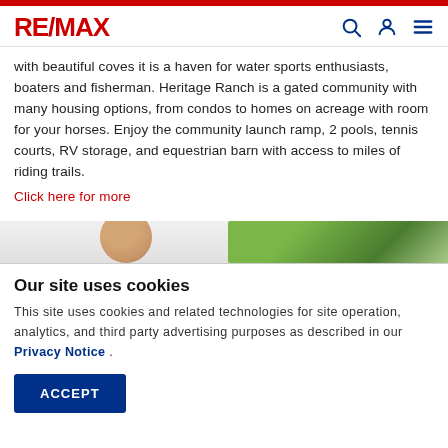RE/MAX
with beautiful coves it is a haven for water sports enthusiasts, boaters and fisherman. Heritage Ranch is a gated community with many housing options, from condos to homes on acreage with room for your horses. Enjoy the community launch ramp, 2 pools, tennis courts, RV storage, and equestrian barn with access to miles of riding trails.
Click here for more
[Figure (photo): Partial photo strip showing trees and a person, cropped at top of cookie notice overlay]
Our site uses cookies
This site uses cookies and related technologies for site operation, analytics, and third party advertising purposes as described in our Privacy Notice .
ACCEPT